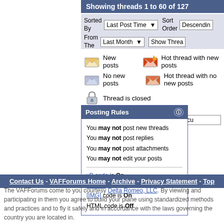Showing threads 1 to 60 of 127
Sorted By
From The
Last Post Time
Last Month
Sort Order
Descending
Show Threads
New posts
Hot thread with new posts
No new posts
Hot thread with no new posts
Thread is closed
Posting Rules
You may not post new threads
You may not post replies
You may not post attachments
You may not edit your posts
vB code is On
Smilies are On
[IMG] code is On
HTML code is Off
Forum Jump
RV General Discu
All times are GMT -6. The tim
Contact Us - VAFForums Home - Archive - Privacy Statement - Top
The VAFForums come to you courtesy Delta Romeo, LLC. By viewing and participating in them you agree to build your plane using standardized methods and practices and to fly it safely and in accordance with the laws governing the country you are located in.